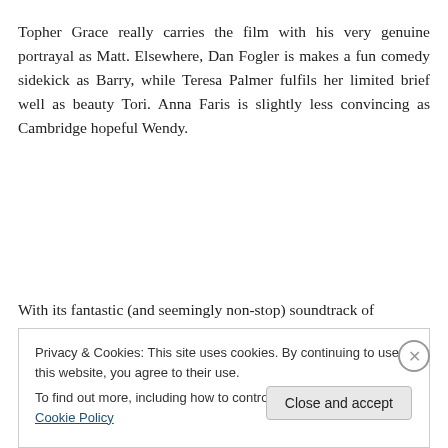Topher Grace really carries the film with his very genuine portrayal as Matt. Elsewhere, Dan Fogler is makes a fun comedy sidekick as Barry, while Teresa Palmer fulfils her limited brief well as beauty Tori. Anna Faris is slightly less convincing as Cambridge hopeful Wendy.
With its fantastic (and seemingly non-stop) soundtrack of
Privacy & Cookies: This site uses cookies. By continuing to use this website, you agree to their use.
To find out more, including how to control cookies, see here: Cookie Policy
Close and accept